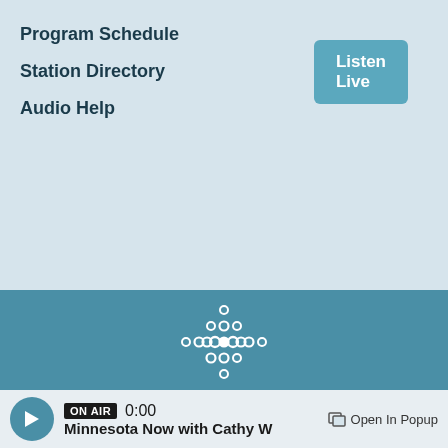Program Schedule
Station Directory
Audio Help
Listen Live
[Figure (logo): Minnesota Public Radio logo — dots arranged in a cross/snowflake pattern above the wordmark MINNESOTA PUBLIC RADIO]
About Minnesota Public Radio
Contact Us
Shop
ON AIR  0:00  Minnesota Now with Cathy W  Open In Popup